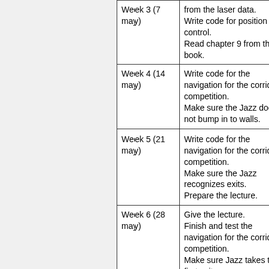| Week | Tasks |
| --- | --- |
| Week 3 (7 may) | from the laser data.
Write code for position control.
Read chapter 9 from the book. |
| Week 4 (14 may) | Write code for the navigation for the corridor competition.
Make sure the Jazz does not bump in to walls. |
| Week 5 (21 may) | Write code for the navigation for the corridor competition.
Make sure the Jazz recognizes exits.
Prepare the lecture. |
| Week 6 (28 may) | Give the lecture.
Finish and test the navigation for the corridor competition.
Make sure Jazz takes the first exit. |
| Week 7 (4 jun) | Corridor competition.
Write code for image recognition.
Make sure arrows and their pointing direction are recognized. |